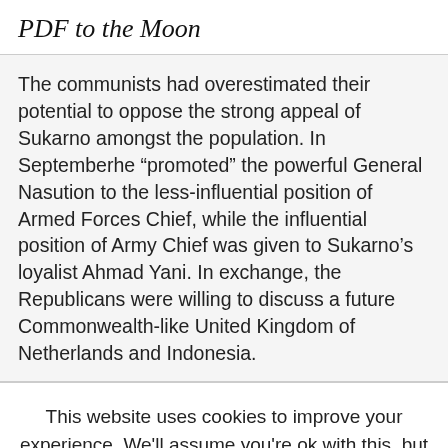PDF to the Moon
The communists had overestimated their potential to oppose the strong appeal of Sukarno amongst the population. In Septemberhe “promoted” the powerful General Nasution to the less-influential position of Armed Forces Chief, while the influential position of Army Chief was given to Sukarno’s loyalist Ahmad Yani. In exchange, the Republicans were willing to discuss a future Commonwealth-like United Kingdom of Netherlands and Indonesia.
This website uses cookies to improve your experience. We'll assume you're ok with this, but you can opt-out if you wish.
Cookie settings   ACCEPT